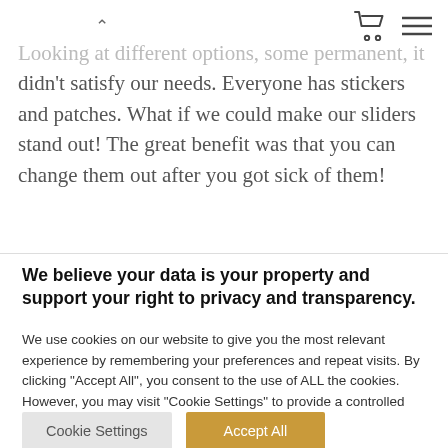^ [cart icon] [menu icon]
Looking at different options, some permanent, it didn't satisfy our needs. Everyone has stickers and patches. What if we could make our sliders stand out! The great benefit was that you can change them out after you got sick of them!
We believe your data is your property and support your right to privacy and transparency.
We use cookies on our website to give you the most relevant experience by remembering your preferences and repeat visits. By clicking "Accept All", you consent to the use of ALL the cookies. However, you may visit "Cookie Settings" to provide a controlled consent.
Cookie Settings | Accept All